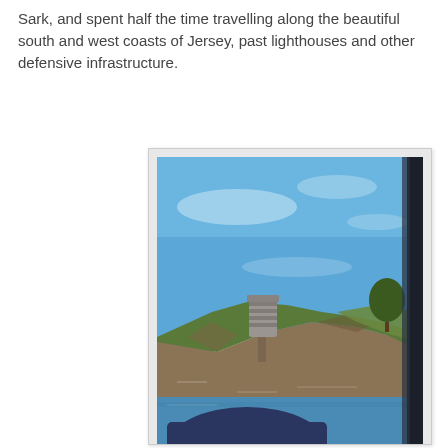Sark, and spent half the time travelling along the beautiful south and west coasts of Jersey, past lighthouses and other defensive infrastructure.
[Figure (photo): View from a boat window showing a rocky coastal headland with green vegetation and a cylindrical defensive tower/structure on top, under a blue sky, with blue sea water in the foreground and a dark window frame on the right edge.]